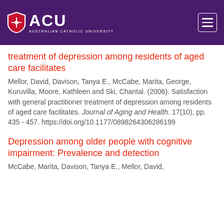ACU Australian Catholic University
treatment of depression among residents of aged care facilitates
Mellor, David, Davison, Tanya E., McCabe, Marita, George, Kuruvilla, Moore, Kathleen and Ski, Chantal. (2006). Satisfaction with general practitioner treatment of depression among residents of aged care facilitates. Journal of Aging and Health. 17(10), pp. 435 - 457. https://doi.org/10.1177/0898264306286199
Depression among older people with cognitive impairment: Prevalence and detection
McCabe, Marita, Davison, Tanya E., Mellor, David,